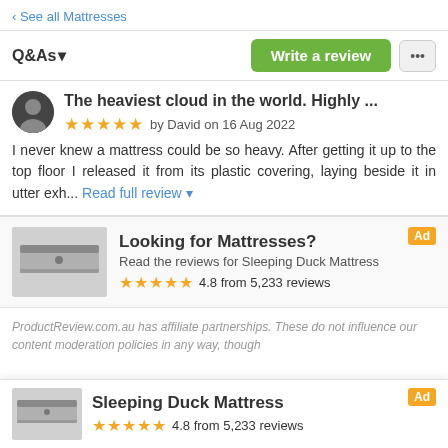‹ See all Mattresses
Q&As ▾
Write a review
The heaviest cloud in the world. Highly ...
★★★★★ by David on 16 Aug 2022
I never knew a mattress could be so heavy. After getting it up to the top floor I released it from its plastic covering, laying beside it in utter exh... Read full review ▾
[Figure (infographic): Ad block: mattress product image with title 'Looking for Mattresses?', subtitle 'Read the reviews for Sleeping Duck Mattress', rating 4.8 from 5,233 reviews, and Ad badge]
ProductReview.com.au has affiliate partnerships. These do not influence our content moderation policies in any way, though
[Figure (infographic): Bottom sticky ad: Sleeping Duck Mattress with product image, rating 4.8 from 5,233 reviews, and Ad badge]